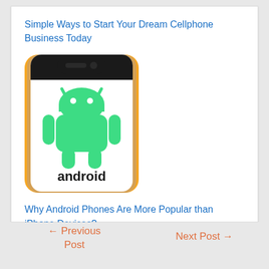Simple Ways to Start Your Dream Cellphone Business Today
[Figure (illustration): An Android phone showing the Android logo (green robot head) and the word 'android' on the screen, with an orange/multicolor gradient background on the phone case.]
Why Android Phones Are More Popular than iPhone Devices?
← Previous Post
Next Post →